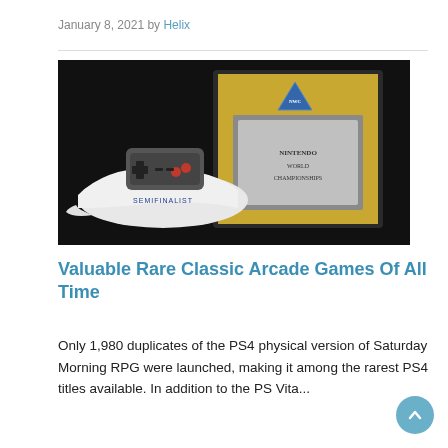January 8, 2021 by Helix
[Figure (photo): A framed NES cartridge display with Nintendo World Championships branding mounted on a gold background, alongside a white N.W.C. Semifinalist cap with an NES controller on top, photographed against a dark background.]
Valuable Rare Classic Arcade Games Of All Time
Only 1,980 duplicates of the PS4 physical version of Saturday Morning RPG were launched, making it among the rarest PS4 titles available. In addition to the PS Vita...